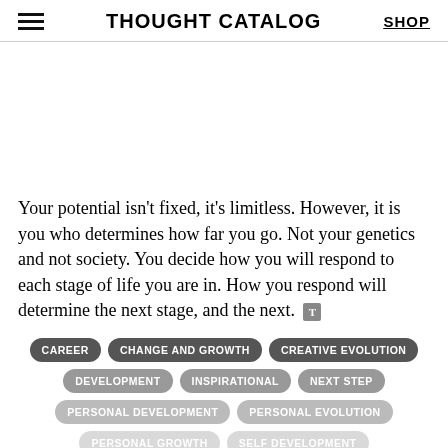THOUGHT CATALOG | SHOP
Your potential isn't fixed, it's limitless. However, it is you who determines how far you go. Not your genetics and not society. You decide how you will respond to each stage of life you are in. How you respond will determine the next stage, and the next.
CAREER
CHANGE AND GROWTH
CREATIVE EVOLUTION
DEVELOPMENT
INSPIRATIONAL
NEXT STEP
PERSONAL DEVELOPMENT
PERSONAL EVOLUTION
PERSONAL GROWTH
SELF DEVELOPMENT